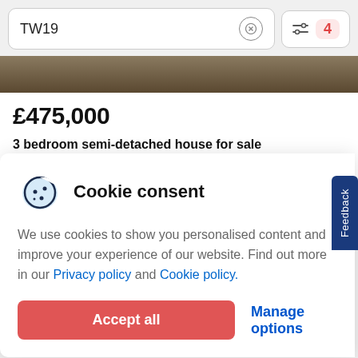TW19
[Figure (screenshot): Property image strip showing partial view of a house photo]
£475,000
3 bedroom semi-detached house for sale
Ethel Road, Ashford, TW15
Cookie consent
We use cookies to show you personalised content and improve your experience of our website. Find out more in our Privacy policy and Cookie policy.
Accept all
Manage options